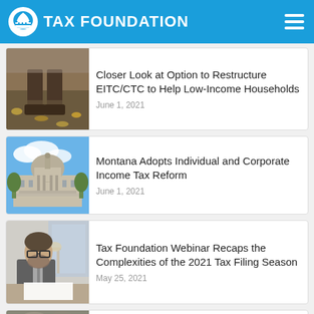TAX FOUNDATION
Closer Look at Option to Restructure EITC/CTC to Help Low-Income Households
June 1, 2021
Montana Adopts Individual and Corporate Income Tax Reform
June 1, 2021
Tax Foundation Webinar Recaps the Complexities of the 2021 Tax Filing Season
May 25, 2021